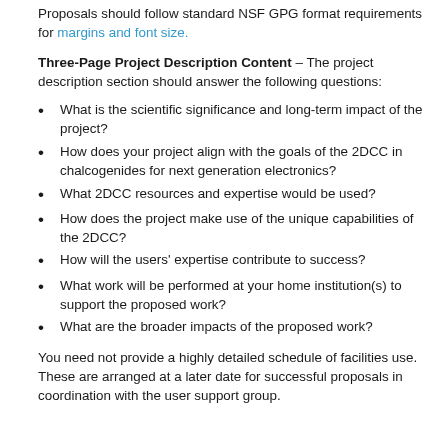Proposals should follow standard NSF GPG format requirements for margins and font size.
Three-Page Project Description Content – The project description section should answer the following questions:
What is the scientific significance and long-term impact of the project?
How does your project align with the goals of the 2DCC in chalcogenides for next generation electronics?
What 2DCC resources and expertise would be used?
How does the project make use of the unique capabilities of the 2DCC?
How will the users' expertise contribute to success?
What work will be performed at your home institution(s) to support the proposed work?
What are the broader impacts of the proposed work?
You need not provide a highly detailed schedule of facilities use. These are arranged at a later date for successful proposals in coordination with the user support group.